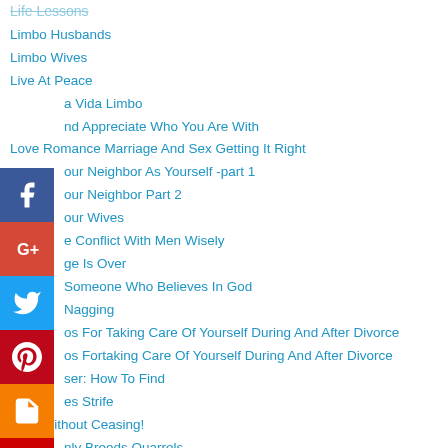Life Lessons
Limbo Husbands
Limbo Wives
Live At Peace
La Vida Limbo
Love And Appreciate Who You Are With
Love Romance Marriage And Sex Getting It Right
Love Your Neighbor As Yourself -part 1
Love Your Neighbor Part 2
Love Your Wives
Manage Conflict With Men Wisely
Marriage Is Over
Marry Someone Who Believes In God
Nagging
No Nos For Taking Care Of Yourself During And After Divorce
No Nos Fortaking Care Of Yourself During And After Divorce
Online User: How To Find
Overcomes Strife
Pray Without Ceasing!
Pride Only Breeds Quarrels
Ready To Date Again?